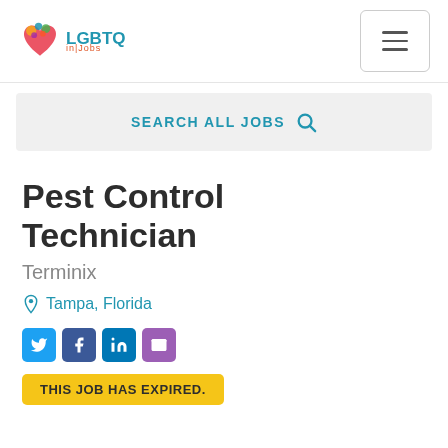LGBTQ in Jobs — navigation bar with logo and hamburger menu
SEARCH ALL JOBS
Pest Control Technician
Terminix
Tampa, Florida
[Figure (other): Social share icons: Twitter, Facebook, LinkedIn, Email]
THIS JOB HAS EXPIRED.